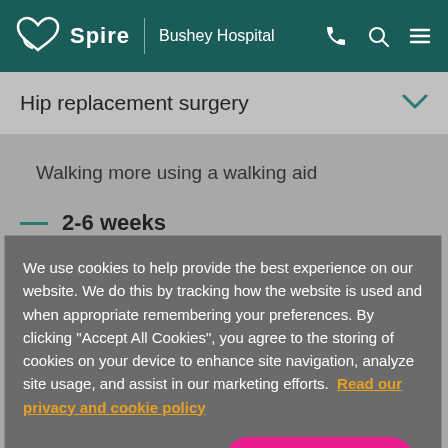Spire | Bushey Hospital
Hip replacement surgery
Walking more using a walking aid
2-6 weeks
We use cookies to help provide the best experience on our website. We do this by tracking how the website is used and when appropriate remembering your preferences. By clicking "Accept All Cookies", you agree to the storing of cookies on your device to enhance site navigation, analyze site usage, and assist in our marketing efforts. Read our privacy and cookie policy
Cookies Settings
Accept All Cookies